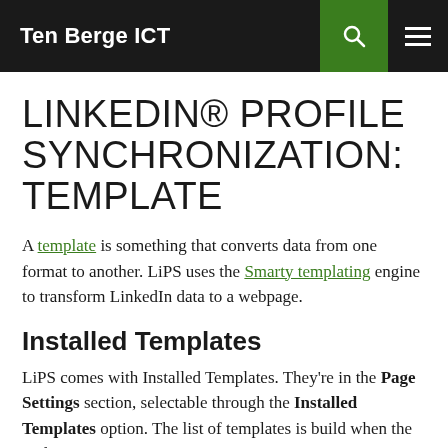Ten Berge ICT
LINKEDIN® PROFILE SYNCHRONIZATION: TEMPLATE
A template is something that converts data from one format to another. LiPS uses the Smarty templating engine to transform LinkedIn data to a webpage.
Installed Templates
LiPS comes with Installed Templates. They're in the Page Settings section, selectable through the Installed Templates option. The list of templates is build when the tool gets